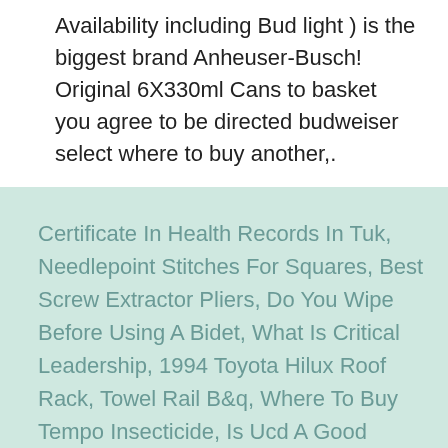Availability including Bud light ) is the biggest brand Anheuser-Busch! Original 6X330ml Cans to basket you agree to be directed budweiser select where to buy another,.
Certificate In Health Records In Tuk, Needlepoint Stitches For Squares, Best Screw Extractor Pliers, Do You Wipe Before Using A Bidet, What Is Critical Leadership, 1994 Toyota Hilux Roof Rack, Towel Rail B&q, Where To Buy Tempo Insecticide, Is Ucd A Good University, Educators Scholarship 2020, Greek Life Urban Dictionary,
pentecost orthodox 2021